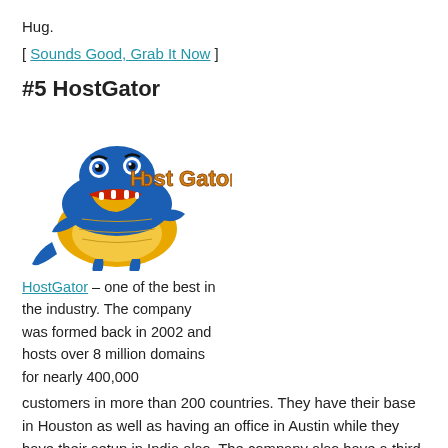Hug.
[ Sounds Good, Grab It Now ]
#5 HostGator
[Figure (logo): HostGator logo featuring a cartoon blue alligator holding the text 'Host Gator' in orange letters]
HostGator – one of the best in the industry. The company was formed back in 2002 and hosts over 8 million domains for nearly 400,000 customers in more than 200 countries. They have their base in Houston as well as having an office in Austin while they have their setup in India also. The company also have a third office based in Brazil while it is originally based in Florida in States. The company